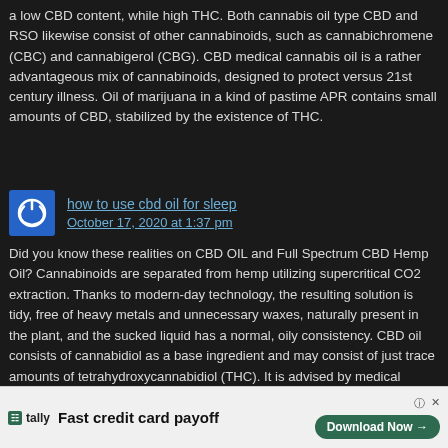a low CBD content, while high THC. Both cannabis oil type CBD and RSO likewise consist of other cannabinoids, such as cannabichromene (CBC) and cannabigerol (CBG). CBD medical cannabis oil is a rather advantageous mix of cannabinoids, designed to protect versus 21st century illness. Oil of marijuana in a kind of pastime APR contains small amounts of CBD, stabilized by the existence of THC.
how to use cbd oil for sleep
October 17, 2020 at 1:37 pm
Did you know these realities on CBD OIL and Full Spectrum CBD Hemp Oil? Cannabinoids are separated from hemp utilizing supercritical CO2 extraction. Thanks to modern-day technology, the resulting solution is tidy, free of heavy metals and unnecessary waxes, naturally present in the plant, and the sucked liquid has a normal, oily consistency. CBD oil consists of cannabidiol as a base ingredient and may consist of just trace amounts of tetrahydroxycannabidiol (THC). It is advised by medical professionals and pharmacists as an antioxidant and substance that obstructs the action of proinflammatory cytokines (proteins), e.g. in Crohn's illness or ulcerative intestine. RSO oil has a low CBD content, while high THC. Obviously, the key job of RSO is to trigger a psychedelic impact, although it can also stimulate “sick” brain structures. It deserves knowing that supplementation of this type is mostly utilized by individuals to whom standard therapy does not bring relief in health problem. The synergistic (enhancing) action of CBD and THC relative to each other is used here. When used independently, both cannabinoids can accomplish more than their similar abilities jointly stimulate … scope of the nerves, a autoimmune … to natural
[Figure (other): Advertisement banner: Tally app - Fast credit card payoff with Download Now button]